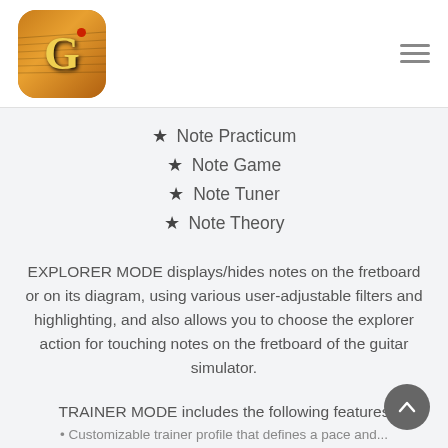[Figure (logo): Guitar app logo: golden/brown rounded square with large yellow G letter and guitar strings, with red dot]
★ Note Practicum
★ Note Game
★ Note Tuner
★ Note Theory
EXPLORER MODE displays/hides notes on the fretboard or on its diagram, using various user-adjustable filters and highlighting, and also allows you to choose the explorer action for touching notes on the fretboard of the guitar simulator.
TRAINER MODE includes the following features
• Customizable trainer profile that defines...